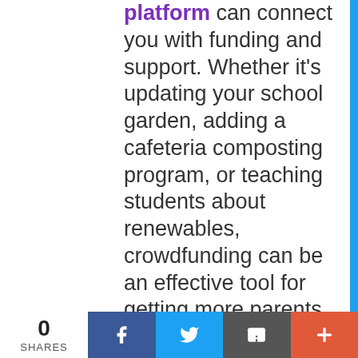platform can connect you with funding and support. Whether it's updating your school garden, adding a cafeteria composting program, or teaching students about renewables, crowdfunding can be an effective tool for getting more parents and neighbors invested in your green school work
0 SHARES | Facebook | Twitter | Email | +